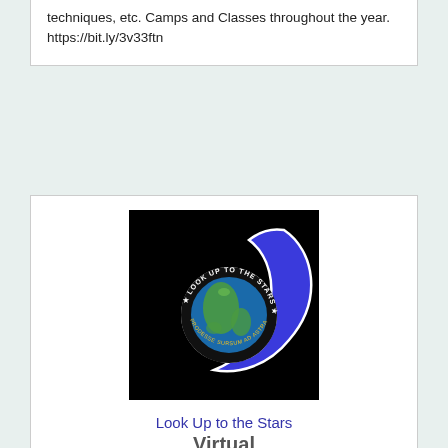techniques, etc. Camps and Classes throughout the year. https://bit.ly/3v33ftn
[Figure (logo): Look Up to the Stars logo: black background with a blue crescent swoosh and circular emblem showing Earth with text 'LOOK UP TO THE STARS' and 'PRODESSE SURSUM AD ASTRA']
Look Up to the Stars
Virtual
| Look Up to the Stars | Email Us |  |  |
| --- | --- | --- | --- |